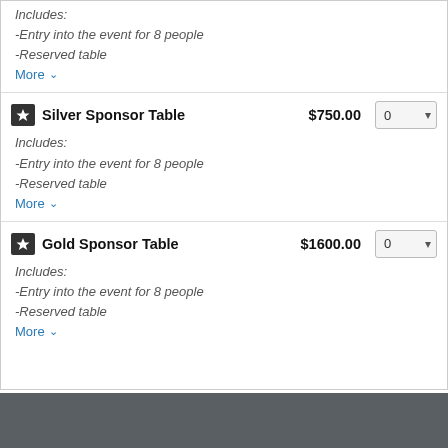Includes:
-Entry into the event for 8 people
-Reserved table
More
Silver Sponsor Table  $750.00
Includes:
-Entry into the event for 8 people
-Reserved table
More
Gold Sponsor Table  $1600.00
Includes:
-Entry into the event for 8 people
-Reserved table
More